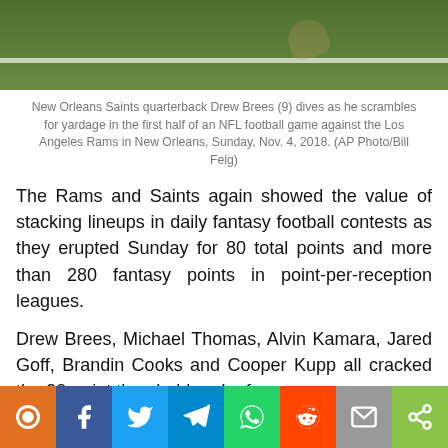[Figure (photo): New Orleans Saints quarterback Drew Brees (9) dives as he scrambles for yardage on a football field with green turf and white yard lines visible.]
New Orleans Saints quarterback Drew Brees (9) dives as he scrambles for yardage in the first half of an NFL football game against the Los Angeles Rams in New Orleans, Sunday, Nov. 4, 2018. (AP Photo/Bill Feig)
The Rams and Saints again showed the value of stacking lineups in daily fantasy football contests as they erupted Sunday for 80 total points and more than 280 fantasy points in point-per-reception leagues.
Drew Brees, Michael Thomas, Alvin Kamara, Jared Goff, Brandin Cooks and Cooper Kupp all cracked the 20-point threshold and a few savvy owners were able to fit in combinations of these players into their lineups.
With… hip